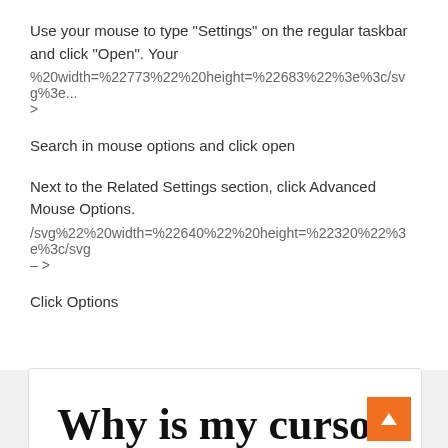Use your mouse to type “Settings” on the regular taskbar and click “Open”. Your
%20width=%22773%22%20height=%22683%22%3e%3c/svg%3e... >
Search in mouse options and click open
Next to the Related Settings section, click Advanced Mouse Options.
/svg%22%20width=%22640%22%20height=%22320%22%3e%3c/svg – >
Click Options
Why is my cursor